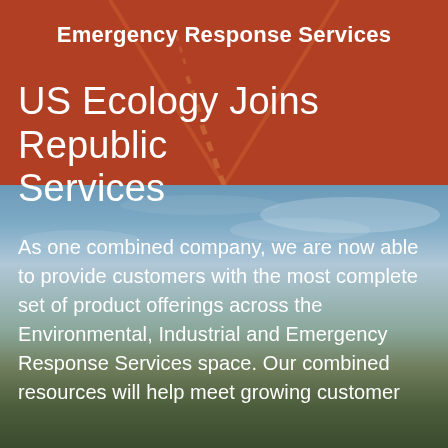[Figure (photo): Top section with dark reddish-brown overlay over a road/highway photo, with 'Emergency Response Services' text overlay]
Emergency Response Services
[Figure (photo): Bottom section showing a landscape photo with blue sky, clouds, and green fields at dusk/twilight]
US Ecology Joins Republic Services
As one combined company, we are now able to provide customers with the most complete set of product offerings across the Environmental, Industrial and Emergency Response Services space. Our combined resources will help meet growing customer